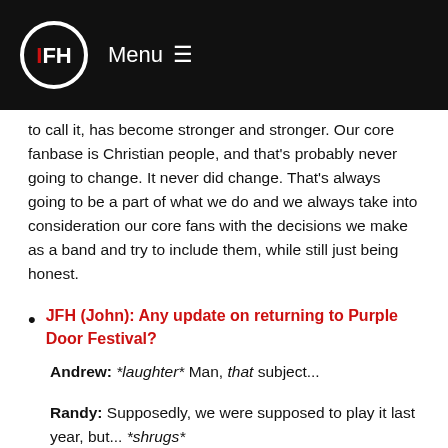Menu ☰
to call it, has become stronger and stronger. Our core fanbase is Christian people, and that's probably never going to change. It never did change. That's always going to be a part of what we do and we always take into consideration our core fans with the decisions we make as a band and try to include them, while still just being honest.
JFH (John): Any update on returning to Purple Door Festival?
Andrew: *laughter* Man, that subject...
Randy: Supposedly, we were supposed to play it last year, but... *shrugs*
Andrew: There's no aversion on their part to having us back at this point. I've had a number of conversations